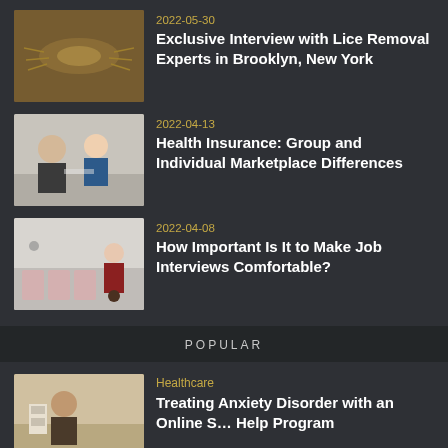2022-05-30
Exclusive Interview with Lice Removal Experts in Brooklyn, New York
2022-04-13
Health Insurance: Group and Individual Marketplace Differences
2022-04-08
How Important Is It to Make Job Interviews Comfortable?
POPULAR
Healthcare
Treating Anxiety Disorder with an Online S… Help Program